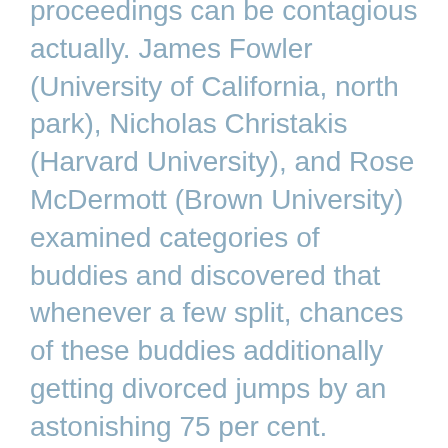proceedings can be contagious actually. James Fowler (University of California, north park), Nicholas Christakis (Harvard University), and Rose McDermott (Brown University) examined categories of buddies and discovered that whenever a few split, chances of these buddies additionally getting divorced jumps by an astonishing 75 per cent.
Not just that, but those who have divorced friends inside their bigger circles that are social 147 % more prone to get divorced than individuals whose buddies are typical nevertheless hitched. Having a divorced sibling or colleague may also also your likelihood of getting divorced. Why? One concept is the fact that viewing your pals